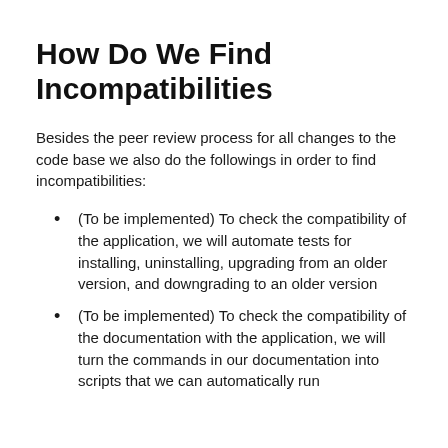How Do We Find Incompatibilities
Besides the peer review process for all changes to the code base we also do the followings in order to find incompatibilities:
(To be implemented) To check the compatibility of the application, we will automate tests for installing, uninstalling, upgrading from an older version, and downgrading to an older version
(To be implemented) To check the compatibility of the documentation with the application, we will turn the commands in our documentation into scripts that we can automatically run